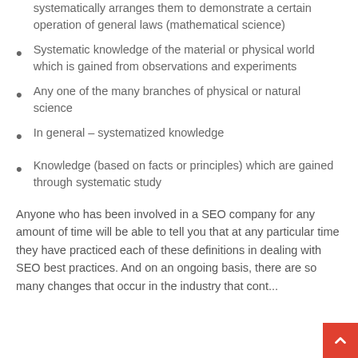with a specified body of facts and systematically arranges them to demonstrate a certain operation of general laws (mathematical science)
Systematic knowledge of the material or physical world which is gained from observations and experiments
Any one of the many branches of physical or natural science
In general – systematized knowledge
Knowledge (based on facts or principles) which are gained through systematic study
Anyone who has been involved in a SEO company for any amount of time will be able to tell you that at any particular time they have practiced each of these definitions in dealing with SEO best practices. And on an ongoing basis, there are so many changes that occur in the industry that cont...